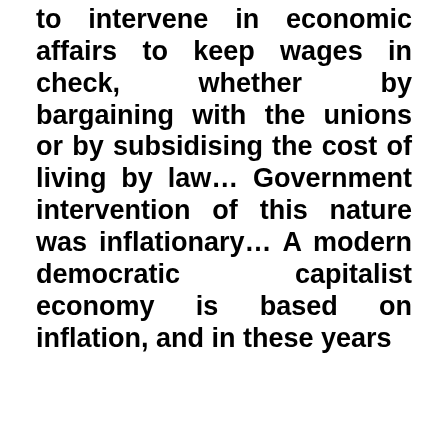to intervene in economic affairs to keep wages in check, whether by bargaining with the unions or by subsidising the cost of living by law… Government intervention of this nature was inflationary… A modern democratic capitalist economy is based on inflation, and in these years